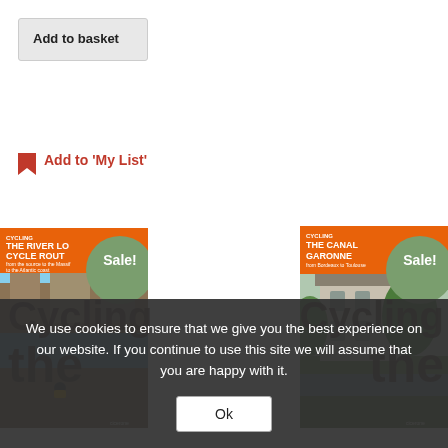Add to basket
Add to 'My List'
[Figure (photo): Book cover: Cycling The River Lo Cycle Route with Sale badge, showing a cyclist and chateau]
[Figure (photo): Book cover: Cycling The Canal Garonne from Bordeaux to Toulouse with Sale badge, showing a stone building]
Cycling
Cycling
We use cookies to ensure that we give you the best experience on our website. If you continue to use this site we will assume that you are happy with it.
Ok